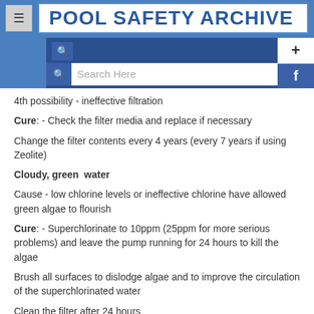POOL SAFETY ARCHIVE
4th possibility - ineffective filtration
Cure: - Check the filter media and replace if necessary
Change the filter contents every 4 years (every 7 years if using Zeolite)
Cloudy, green  water
Cause - low chlorine levels or ineffective chlorine have allowed green algae to flourish
Cure: - Superchlorinate to 10ppm (25ppm for more serious problems) and leave the pump running for 24 hours to kill the algae
Brush all surfaces to dislodge algae and to improve the circulation of the superchlorinated water
Clean the filter after 24 hours